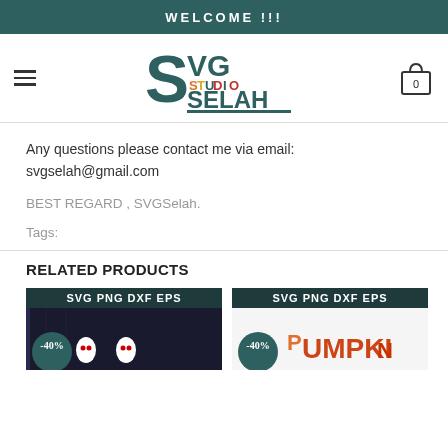WELCOME !!!
[Figure (logo): SVG Studio Selah logo with stylized S and colorful text]
Any questions please contact me via email: svgselah@gmail.com
BEST REGARD , SVGSelah.
Tags:
RELATED PRODUCTS
[Figure (photo): Product card showing SVG PNG DXF EPS with -40% badge]
[Figure (photo): Product card showing SVG PNG DXF EPS Pumpkin with -40% badge]